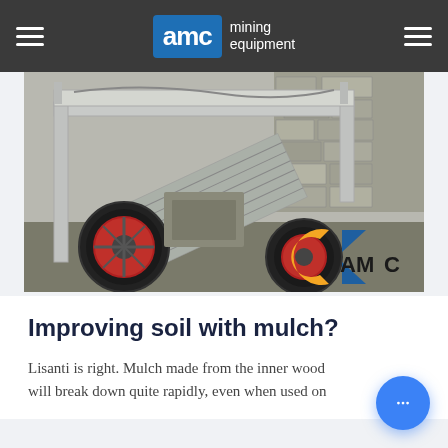AMC mining equipment
[Figure (photo): Industrial mining equipment - a metal screening or sorting machine with steel frame, large wheels with red rubber, metal grating ramp, and AMC logo visible in bottom right corner. Photographed outdoors near a stone wall.]
Improving soil with mulch?
Lisanti is right. Mulch made from the inner wood will break down quite rapidly, even when used on